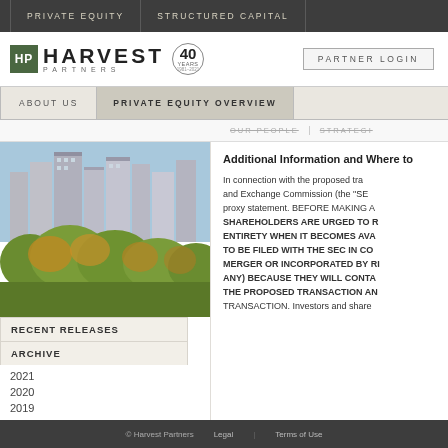PRIVATE EQUITY | STRUCTURED CAPITAL
[Figure (logo): Harvest Partners logo with HP box, company name, 40 Years badge, and Partner Login button]
ABOUT US | PRIVATE EQUITY OVERVIEW
OUR PEOPLE | STRATEGY
[Figure (photo): Aerial photo of New York City skyline with Central Park foliage in autumn]
RECENT RELEASES
ARCHIVE
2021
2020
2019
2018
Additional Information and Where to
In connection with the proposed tra... and Exchange Commission (the "SE... proxy statement. BEFORE MAKING A... SHAREHOLDERS ARE URGED TO R... ENTIRETY WHEN IT BECOMES AVA... TO BE FILED WITH THE SEC IN CO... MERGER OR INCORPORATED BY RE... ANY) BECAUSE THEY WILL CONTA... THE PROPOSED TRANSACTION AN... TRANSACTION. Investors and share...
© Harvest Partners   Legal | Terms of Use